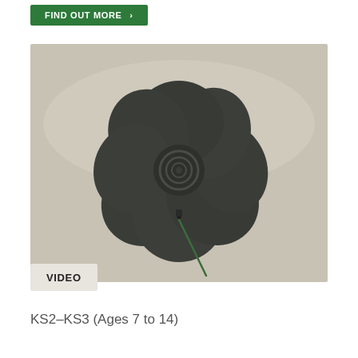FIND OUT MORE →
[Figure (photo): A dark grey/green fabric poppy with a spiral centre and a green wire stem, photographed against a light beige background.]
VIDEO
KS2–KS3 (Ages 7 to 14)